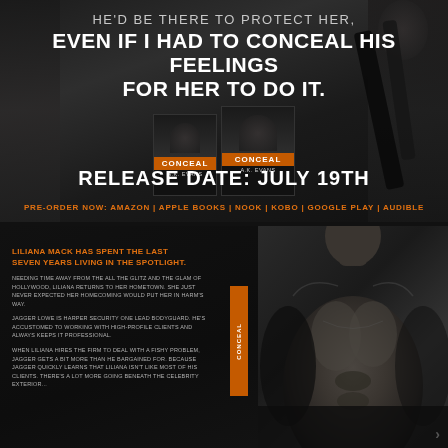[Figure (illustration): Top promotional panel for book 'Conceal' by A.K. Evans with dark moody background showing a man's face/neck. Text overlaid with tagline, book cover images, release date, and pre-order links.]
HE'D BE THERE TO PROTECT HER, EVEN IF I HAD TO CONCEAL HIS FEELINGS FOR HER TO DO IT.
RELEASE DATE: JULY 19TH
PRE-ORDER NOW: AMAZON | APPLE BOOKS | NOOK | KOBO | GOOGLE PLAY | AUDIBLE
[Figure (illustration): Bottom promotional panel with dark background showing muscular male torso on right side, book synopsis text on left, and book spine visible.]
LILIANA MACK HAS SPENT THE LAST SEVEN YEARS LIVING IN THE SPOTLIGHT.
NEEDING TIME AWAY FROM THE ALL THE GLITZ AND THE GLAM OF HOLLYWOOD, LILIANA RETURNS TO HER HOMETOWN. SHE JUST NEVER EXPECTED HER HOMECOMING WOULD PUT HER IN HARM'S WAY.
JAGGER LOWE IS HARPER SECURITY ONE LEAD BODYGUARD. HE'S ACCUSTOMED TO WORKING WITH HIGH-PROFILE CLIENTS AND ALWAYS KEEPS IT PROFESSIONAL.
WHEN LILIANA HIRES THE FIRM TO DEAL WITH A FISHY PROBLEM, JAGGER GETS A BIT MORE THAN HE BARGAINED FOR. BECAUSE JAGGER QUICKLY LEARNS THAT LILIANA ISN'T LIKE MOST OF HIS CLIENTS. THERE'S A LOT MORE GOING BENEATH THE CELEBRITY EXTERIOR...